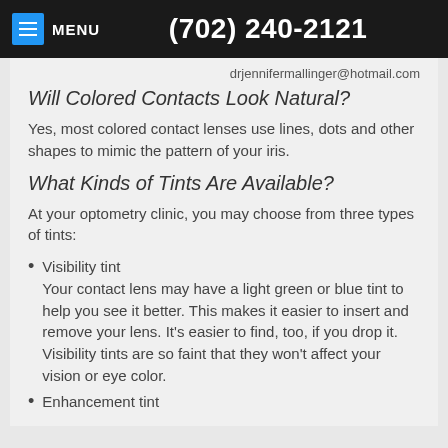MENU  (702) 240-2121
drjennifermallinger@hotmail.com
Will Colored Contacts Look Natural?
Yes, most colored contact lenses use lines, dots and other shapes to mimic the pattern of your iris.
What Kinds of Tints Are Available?
At your optometry clinic, you may choose from three types of tints:
Visibility tint
Your contact lens may have a light green or blue tint to help you see it better. This makes it easier to insert and remove your lens. It's easier to find, too, if you drop it. Visibility tints are so faint that they won't affect your vision or eye color.
Enhancement tint